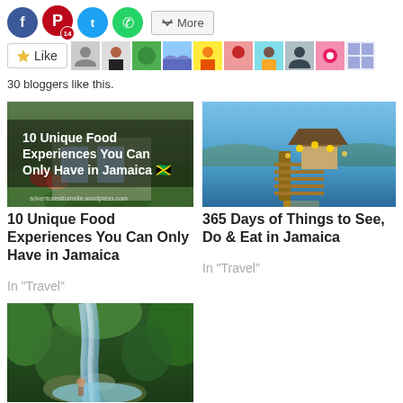[Figure (screenshot): Social share buttons: Facebook, Pinterest (14), Twitter, WhatsApp, More]
[Figure (screenshot): Like button row with star icon and avatar photos of 30 bloggers]
30 bloggers like this.
[Figure (photo): 10 Unique Food Experiences You Can Only Have in Jamaica - restaurant/cafe photo with text overlay]
10 Unique Food Experiences You Can Only Have in Jamaica
In "Travel"
[Figure (photo): Dock/pier over blue ocean water at dusk with thatched huts and lights]
365 Days of Things to See, Do & Eat in Jamaica
In "Travel"
[Figure (photo): Waterfall in lush green jungle/forest in Jamaica]